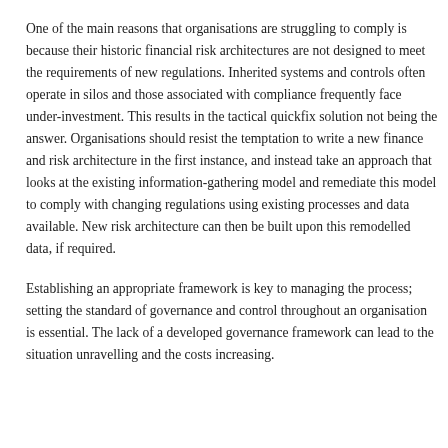One of the main reasons that organisations are struggling to comply is because their historic financial risk architectures are not designed to meet the requirements of new regulations. Inherited systems and controls often operate in silos and those associated with compliance frequently face under-investment. This results in the tactical quickfix solution not being the answer. Organisations should resist the temptation to write a new finance and risk architecture in the first instance, and instead take an approach that looks at the existing information-gathering model and remediate this model to comply with changing regulations using existing processes and data available. New risk architecture can then be built upon this remodelled data, if required.
Establishing an appropriate framework is key to managing the process; setting the standard of governance and control throughout an organisation is essential. The lack of a developed governance framework can lead to the situation unravelling and the costs increasing.